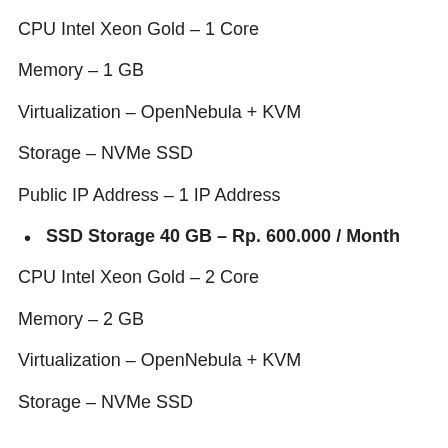CPU Intel Xeon Gold – 1 Core
Memory – 1 GB
Virtualization – OpenNebula + KVM
Storage – NVMe SSD
Public IP Address – 1 IP Address
SSD Storage 40 GB – Rp. 600.000 / Month
CPU Intel Xeon Gold – 2 Core
Memory – 2 GB
Virtualization – OpenNebula + KVM
Storage – NVMe SSD